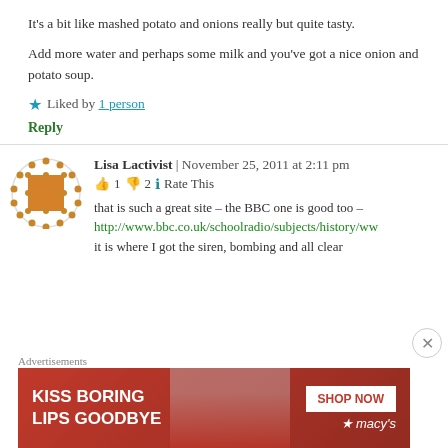It's a bit like mashed potato and onions really but quite tasty.
Add more water and perhaps some milk and you've got a nice onion and potato soup.
★ Liked by 1 person
Reply
Lisa Lactivist | November 25, 2011 at 2:11 pm
👍 1 👎 2 ℹ Rate This
that is such a great site – the BBC one is good too – http://www.bbc.co.uk/schoolradio/subjects/history/ww it is where I got the siren, bombing and all clear
Advertisements
[Figure (photo): Macy's advertisement banner: KISS BORING LIPS GOODBYE with SHOP NOW button and macys logo]